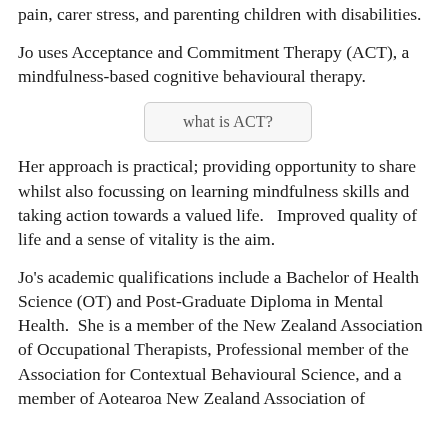pain, carer stress, and parenting children with disabilities.
Jo uses Acceptance and Commitment Therapy (ACT), a mindfulness-based cognitive behavioural therapy.
[Figure (other): Button element labelled 'what is ACT?']
Her approach is practical; providing opportunity to share whilst also focussing on learning mindfulness skills and taking action towards a valued life.   Improved quality of life and a sense of vitality is the aim.
Jo's academic qualifications include a Bachelor of Health Science (OT) and Post-Graduate Diploma in Mental Health.  She is a member of the New Zealand Association of Occupational Therapists, Professional member of the Association for Contextual Behavioural Science, and a member of Aotearoa New Zealand Association of